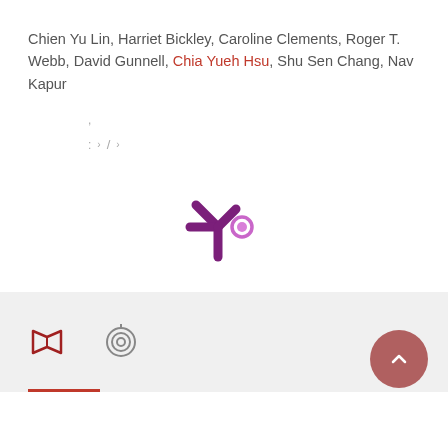Chien Yu Lin, Harriet Bickley, Caroline Clements, Roger T. Webb, David Gunnell, Chia Yueh Hsu, Shu Sen Chang, Nav Kapur
,
: › / ›
[Figure (logo): Altmetric donut/snowflake logo in purple with a small pink/purple circle]
[Figure (logo): Book icon in dark red]
[Figure (logo): Spiral/target icon in gray]
[Figure (other): Scroll-to-top button, circular, dusty red/rose color with upward chevron]